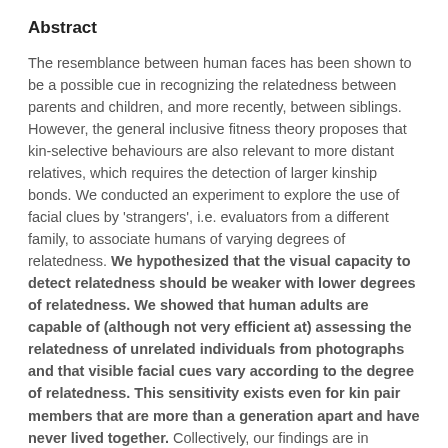Abstract
The resemblance between human faces has been shown to be a possible cue in recognizing the relatedness between parents and children, and more recently, between siblings. However, the general inclusive fitness theory proposes that kin-selective behaviours are also relevant to more distant relatives, which requires the detection of larger kinship bonds. We conducted an experiment to explore the use of facial clues by 'strangers', i.e. evaluators from a different family, to associate humans of varying degrees of relatedness. We hypothesized that the visual capacity to detect relatedness should be weaker with lower degrees of relatedness. We showed that human adults are capable of (although not very efficient at) assessing the relatedness of unrelated individuals from photographs and that visible facial cues vary according to the degree of relatedness. This sensitivity exists even for kin pair members that are more than a generation apart and have never lived together. Collectively, our findings are in agreement with emerging knowledge on the role played by facial resemblance as a kinship cue. But we have